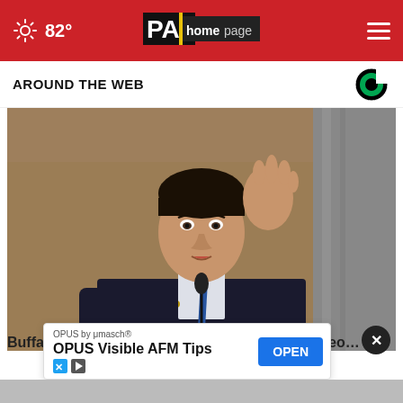82° PA Homepage
AROUND THE WEB
[Figure (photo): Man in dark suit with blue tie gesturing with right hand raised, speaking at what appears to be a congressional hearing with a microphone in front of him]
Buffalo shooting pushes 'great replacement' theo…
OPUS by μmasch® OPUS Visible AFM Tips OPEN